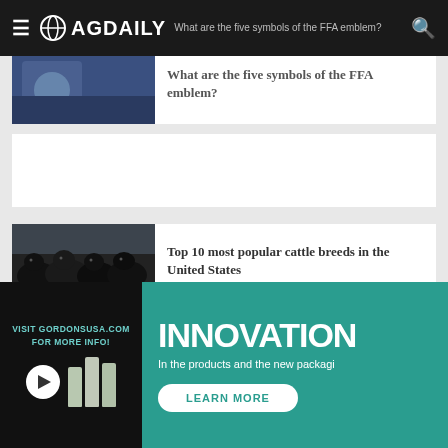AG DAILY
What are the five symbols of the FFA emblem?
[Figure (photo): Person in FFA jacket with emblem]
[Figure (photo): Woman in grocery store looking at food label]
Mandatory labeling on GE foods may reduce customer purchases
[Figure (photo): Group of black cattle facing camera]
Top 10 most popular cattle breeds in the United States
[Figure (screenshot): Ad: Visit gordonsusa.com for more info with product bottles and play button]
[Figure (infographic): Ad: Innovation in the products and the new packaging - Learn More button on teal background]